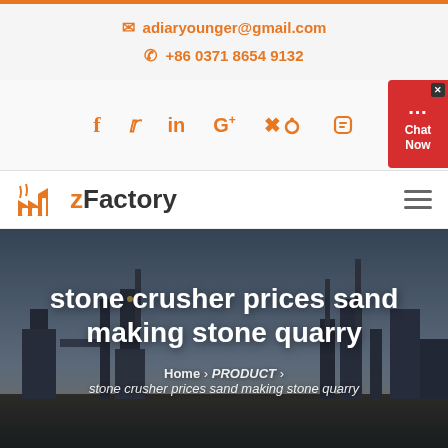adiaryounger@gmail.com  +86 0371 8654 9132
[Figure (screenshot): Social media icons: Facebook, Twitter, LinkedIn, Google+, Pinterest, YouTube in orange]
[Figure (logo): zFactory logo with orange factory icon and bold text]
stone crusher prices sand making stone quarry
Home › PRODUCT › stone crusher prices sand making stone quarry